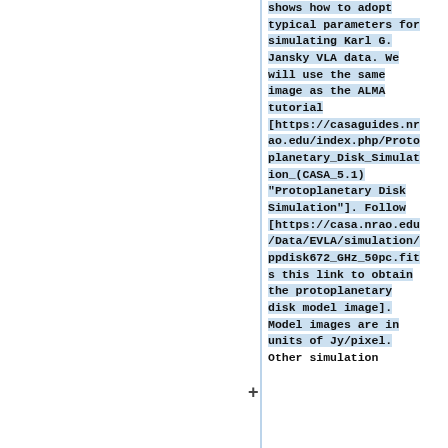shows how to adopt typical parameters for simulating Karl G. Jansky VLA data. We will use the same image as the ALMA tutorial [https://casaguides.nrao.edu/index.php/Protoplanetary_Disk_Simulation_(CASA_5.1) "Protoplanetary Disk Simulation"]. Follow [https://casa.nrao.edu/Data/EVLA/simulation/ppdisk672_GHz_50pc.fits this link to obtain the protoplanetary disk model image]. Model images are in units of Jy/pixel. Other simulation